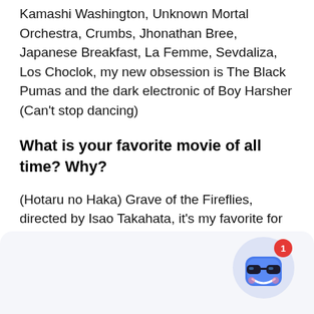Kamashi Washington, Unknown Mortal Orchestra, Crumbs, Jhonathan Bree, Japanese Breakfast, La Femme, Sevdaliza, Los Choclok, my new obsession is The Black Pumas and the dark electronic of Boy Harsher (Can't stop dancing)
What is your favorite movie of all time? Why?
(Hotaru no Haka) Grave of the Fireflies, directed by Isao Takahata, it's my favorite for many reasons. First, nostalgia. I saw this movie for the first time when I was 9 years old with my two brothers, and it was a big door opener for me. Not just for anime and manga in
[Figure (illustration): Chat bot icon: a blue cartoon character with sunglasses, smiling, inside a light purple circle, with a red notification badge showing the number 1]